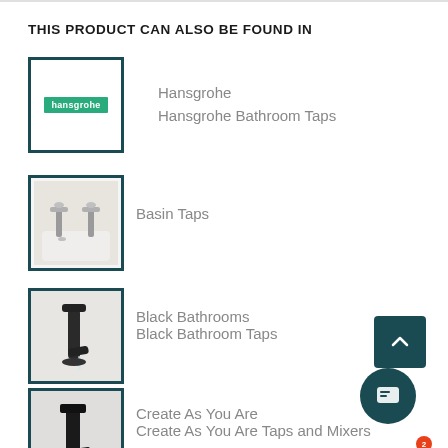THIS PRODUCT CAN ALSO BE FOUND IN
[Figure (logo): Hansgrohe brand logo — green rectangle with white text 'hansgrohe']
Hansgrohe
Hansgrohe Bathroom Taps
[Figure (photo): Photo of two chrome basin taps on a white sink]
Basin Taps
[Figure (photo): Photo of a matte black basin tap with water running]
Black Bathrooms
Black Bathroom Taps
[Figure (photo): Photo of a square matte black basin tap with accessories]
Create As You Are
Create As You Are Taps and Mixers